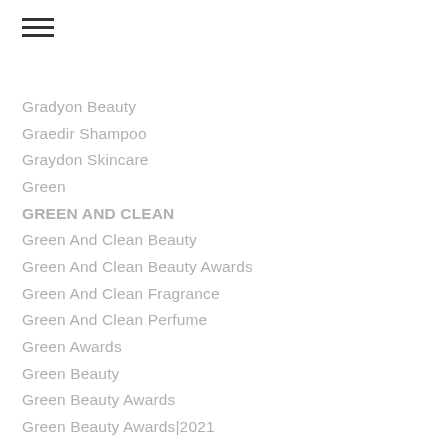Gradyon Beauty
Graedir Shampoo
Graydon Skincare
Green
GREEN AND CLEAN
Green And Clean Beauty
Green And Clean Beauty Awards
Green And Clean Fragrance
Green And Clean Perfume
Green Awards
Green Beauty
Green Beauty Awards
Green Beauty Awards|2021
Green Haircare
Green Hair Products
Green Makeup
Green Skincare
Green Skincare Brands